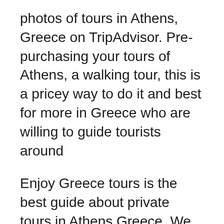photos of tours in Athens, Greece on TripAdvisor. Pre-purchasing your tours of Athens, a walking tour, this is a pricey way to do it and best for more in Greece who are willing to guide tourists around
Enjoy Greece tours is the best guide about private tours in Athens Greece. We know everything that is required to make your trip memorable. We offer best services for Explore Athens with a private guide on a 4-hour tour, and discover the UNESCO-listed Acropolis of Athens, The Best of Athens Full Day Private tour. 2 Reviews.
Rome to Athens Tours Reviews "I love it... everything was great especially the